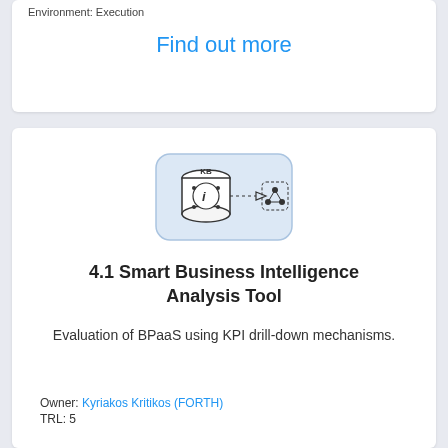Environment: Execution
Find out more
[Figure (illustration): Icon showing a knowledge base (KB) database cylinder with an info/search symbol, connected by a dashed arrow to a network node diagram]
4.1 Smart Business Intelligence Analysis Tool
Evaluation of BPaaS using KPI drill-down mechanisms.
Owner: Kyriakos Kritikos (FORTH)
TRL: 5